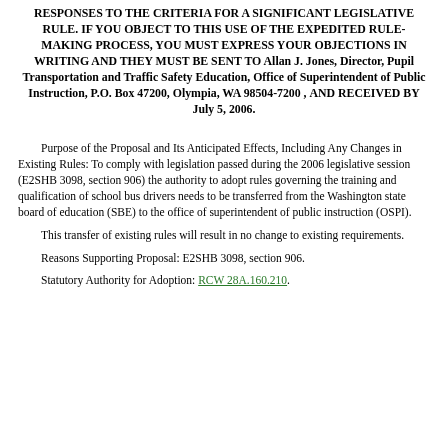RESPONSES TO THE CRITERIA FOR A SIGNIFICANT LEGISLATIVE RULE. IF YOU OBJECT TO THIS USE OF THE EXPEDITED RULE-MAKING PROCESS, YOU MUST EXPRESS YOUR OBJECTIONS IN WRITING AND THEY MUST BE SENT TO Allan J. Jones, Director, Pupil Transportation and Traffic Safety Education, Office of Superintendent of Public Instruction, P.O. Box 47200, Olympia, WA 98504-7200 , AND RECEIVED BY July 5, 2006.
Purpose of the Proposal and Its Anticipated Effects, Including Any Changes in Existing Rules: To comply with legislation passed during the 2006 legislative session (E2SHB 3098, section 906) the authority to adopt rules governing the training and qualification of school bus drivers needs to be transferred from the Washington state board of education (SBE) to the office of superintendent of public instruction (OSPI).
This transfer of existing rules will result in no change to existing requirements.
Reasons Supporting Proposal: E2SHB 3098, section 906.
Statutory Authority for Adoption: RCW 28A.160.210.